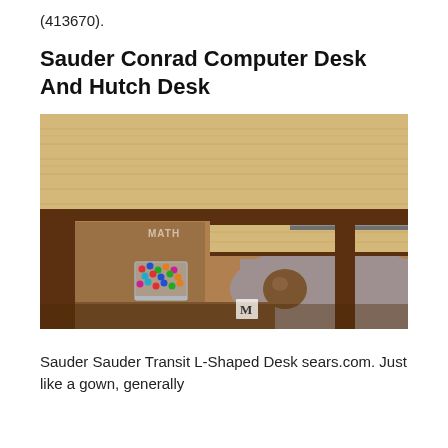(413670).
Sauder Conrad Computer Desk And Hutch Desk
[Figure (photo): Close-up overhead photo of a wooden computer desk with a light bamboo/maple top surface and dark walnut-colored supports, showing an open drawer with a metal slide rail and a small clear acrylic container filled with colorful pushpins on the shelf below. A gray rug is visible on the floor. Watermark 'MATH' and 'M' logo visible.]
Sauder Sauder Transit L-Shaped Desk sears.com. Just like a gown, generally